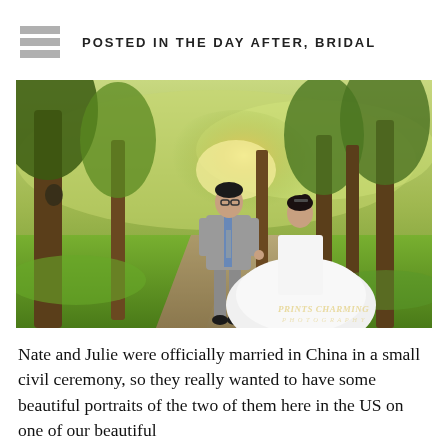POSTED IN THE DAY AFTER, BRIDAL
[Figure (photo): A couple walking on a park path holding hands. The groom wears a grey suit with a blue tie and glasses. The bride wears a white ball gown wedding dress. Trees line a sunlit path, with green grass and warm golden light in the background. A watermark reads 'Prints Charming Photography'.]
Nate and Julie were officially married in China in a small civil ceremony, so they really wanted to have some beautiful portraits of the two of them here in the US on one of our beautiful